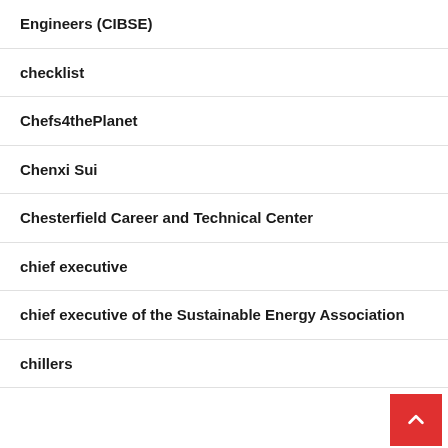Engineers (CIBSE)
checklist
Chefs4thePlanet
Chenxi Sui
Chesterfield Career and Technical Center
chief executive
chief executive of the Sustainable Energy Association
chillers